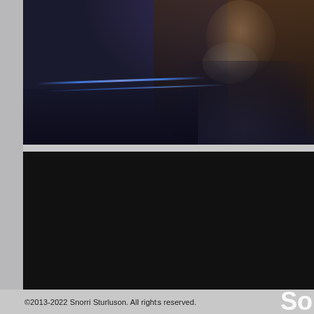[Figure (photo): Dark nighttime photo of a person with long hair wearing a dark jacket and gray scarf/turtleneck, with blue light streaks visible in the background, appearing to be in a venue or transportation setting]
[Figure (photo): Very dark/nearly black image panel below the first photo]
©2013-2022 Snorri Sturluson. All rights reserved.